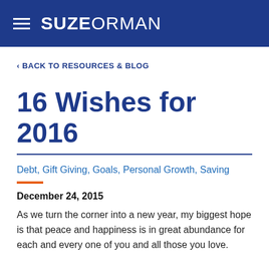SUZEORMAN
< BACK TO RESOURCES & BLOG
16 Wishes for 2016
Debt, Gift Giving, Goals, Personal Growth, Saving
December 24, 2015
As we turn the corner into a new year, my biggest hope is that peace and happiness is in great abundance for each and every one of you and all those you love.